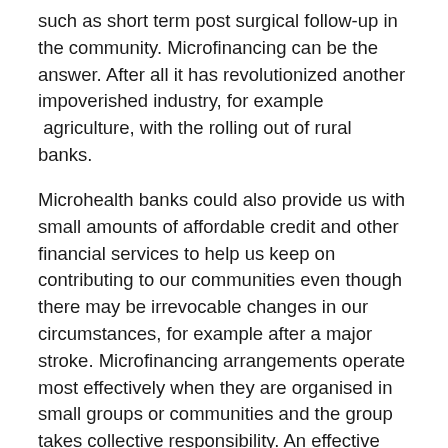such as short term post surgical follow-up in the community. Microfinancing can be the answer. After all it has revolutionized another impoverished industry, for example  agriculture, with the rolling out of rural banks.
Microhealth banks could also provide us with small amounts of affordable credit and other financial services to help us keep on contributing to our communities even though there may be irrevocable changes in our circumstances, for example after a major stroke. Microfinancing arrangements operate most effectively when they are organised in small groups or communities and the group takes collective responsibility. An effective lending-repayment system is especially important for women who are less likely to have disposable financial resources, are more likely to be designated carers and are less likely to have people to care for them.